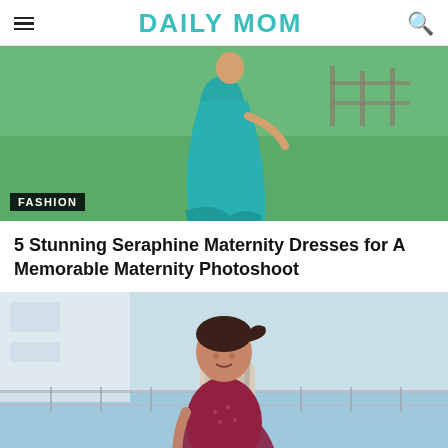DAILY MOM
[Figure (photo): Pregnant woman in a teal maxi dress standing on a green lawn with a fence and barn in background. FASHION label overlay in bottom left.]
5 Stunning Seraphine Maternity Dresses for A Memorable Maternity Photoshoot
[Figure (photo): Smiling woman with dark hair in a ponytail, wearing a maroon floral shirt and carrying a large light-colored backpack, standing near a waterfront with railings and water in the background.]